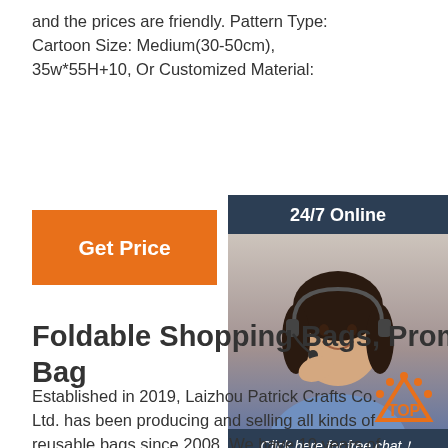and the prices are friendly. Pattern Type: Cartoon Size: Medium(30-50cm), 35w*55H+10, Or Customized Material:
Get Price
[Figure (illustration): 24/7 Online chat widget with a female customer service agent wearing a headset, smiling. Contains 'Click here for free chat!' text and an orange QUOTATION button.]
Foldable Shopping Bags, Promotional Recycled Tote Bag
Established in 2019, Laizhou Patrick Crafts Co. Ltd. has been producing and selling all kinds of reusable bags since 2008. We have 10 years of production and sales experience in the industry. Our product range covers
[Figure (logo): Orange TOP badge/logo with dotted arc above]